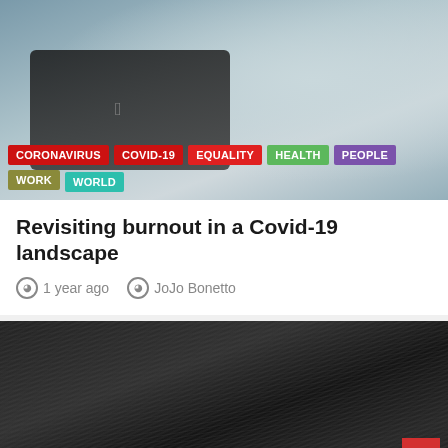[Figure (photo): Person working at a laptop in an office setting, light grey/blue tones]
CORONAVIRUS
COVID-19
EQUALITY
HEALTH
PEOPLE
WORK
WORLD
Revisiting burnout in a Covid-19 landscape
1 year ago   JoJo Bonetto
[Figure (photo): Close-up black and white photo of dark hair]
EQUALITY
FEMINISM
PEOPLE
SOCIOLOGY
WORK
WORLD
Sexual Capital: Asset or liability?